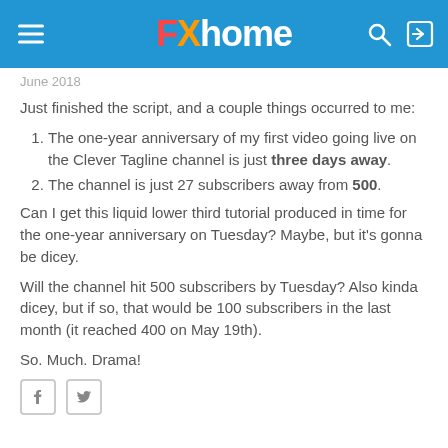FXhome
June 2018
Just finished the script, and a couple things occurred to me:
The one-year anniversary of my first video going live on the Clever Tagline channel is just three days away.
The channel is just 27 subscribers away from 500.
Can I get this liquid lower third tutorial produced in time for the one-year anniversary on Tuesday?  Maybe, but it's gonna be dicey.
Will the channel hit 500 subscribers by Tuesday?  Also kinda dicey, but if so, that would be 100 subscribers in the last month (it reached 400 on May 19th).
So.  Much.  Drama!